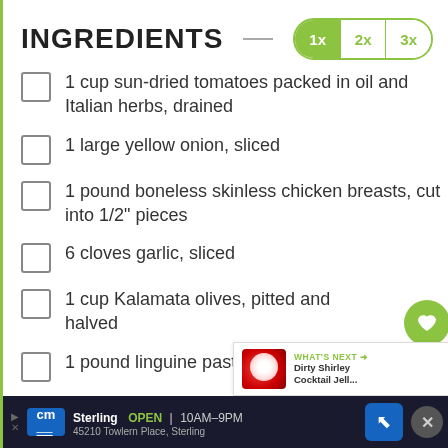INGREDIENTS
1 cup sun-dried tomatoes packed in oil and Italian herbs, drained
1 large yellow onion, sliced
1 pound boneless skinless chicken breasts, cut into 1/2" pieces
6 cloves garlic, sliced
1 cup Kalamata olives, pitted and halved
1 pound linguine pasta, uncooked
2 teaspoons dried oregano
Sterling  OPEN  10AM–9PM  45210 Towlern Place, Sterling